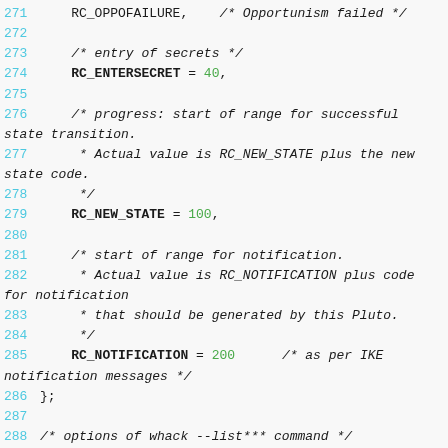[Figure (screenshot): Source code listing showing C/C++ enum and macro definitions with line numbers 271-290, syntax highlighted with blue line numbers, green numeric values, and italic comments.]